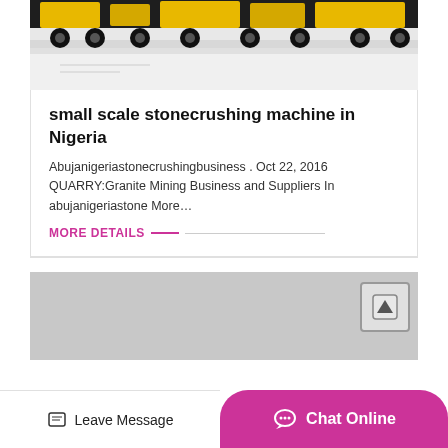[Figure (photo): Photo of heavy industrial equipment/trucks with yellow cranes on a light background]
small scale stonecrushing machine in Nigeria
Abujanigeriastonecrushingbusiness . Oct 22, 2016 QUARRY:Granite Mining Business and Suppliers In abujanigeriastone More…
MORE DETAILS
[Figure (photo): Gray placeholder image for second article card]
Leave Message
Chat Online